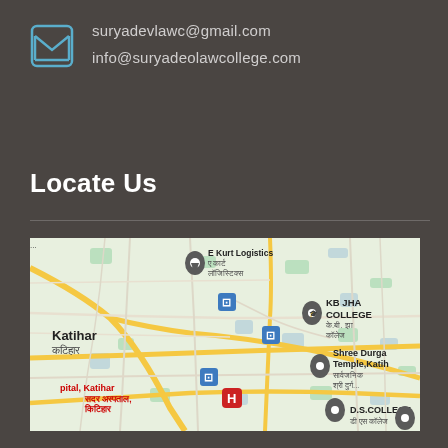suryadevlawc@gmail.com
info@suryadeolawcollege.com
Locate Us
[Figure (map): Google Maps screenshot showing Katihar area with landmarks including KB JHA COLLEGE, Shree Durga Temple Katihar, D.S. COLLEGE, and hospital in Katihar, Bihar, India. Map shows road network with yellow roads, bus stop icons, and location pins.]